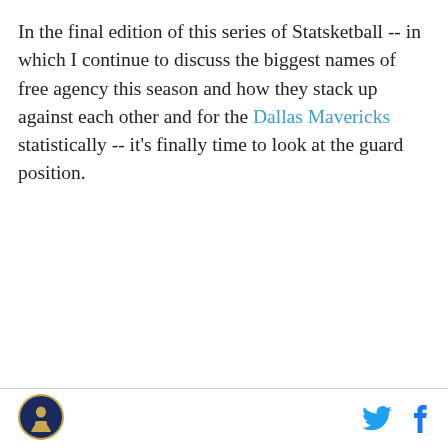In the final edition of this series of Statsketball -- in which I continue to discuss the biggest names of free agency this season and how they stack up against each other and for the Dallas Mavericks statistically -- it's finally time to look at the guard position.
[Figure (logo): Circular logo with a mascot figure in navy and gold, styled as a site or publication logo in the page footer]